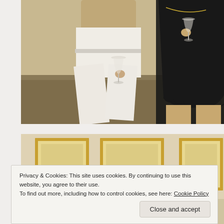[Figure (photo): Two people outdoors holding wine glasses. One person wearing white pants and a beige top, the other in a black dress. Background shows dry ground/grass.]
[Figure (photo): Partial view of an interior room with cream-colored walls decorated with gold-framed paintings/artwork.]
Privacy & Cookies: This site uses cookies. By continuing to use this website, you agree to their use.
To find out more, including how to control cookies, see here: Cookie Policy
Close and accept